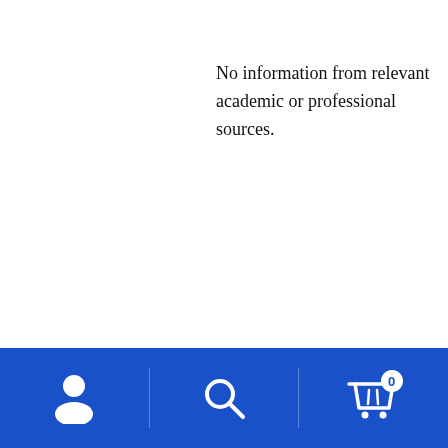No information from relevant academic or professional sources.
Very little information from relevant academic or professional sources. those ch may be o limited relevance digital fo and e-professio the learn